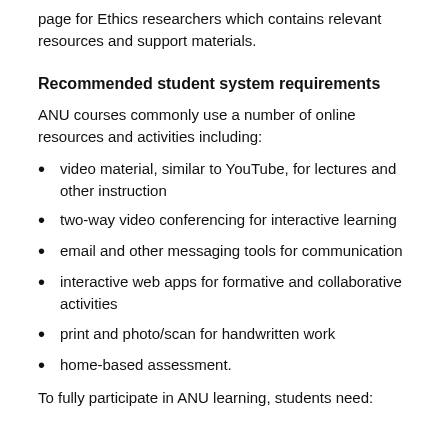page for Ethics researchers which contains relevant resources and support materials.
Recommended student system requirements
ANU courses commonly use a number of online resources and activities including:
video material, similar to YouTube, for lectures and other instruction
two-way video conferencing for interactive learning
email and other messaging tools for communication
interactive web apps for formative and collaborative activities
print and photo/scan for handwritten work
home-based assessment.
To fully participate in ANU learning, students need: